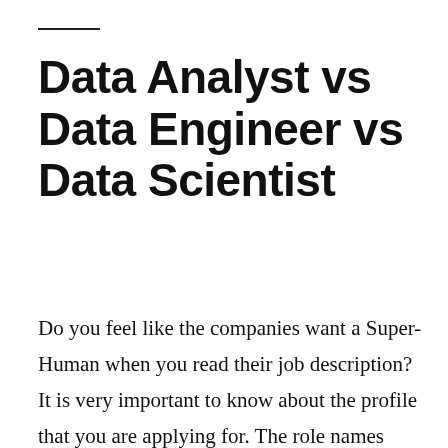Data Analyst vs Data Engineer vs Data Scientist
Do you feel like the companies want a Super-Human when you read their job description? It is very important to know about the profile that you are applying for. The role names differ from company to company, for that